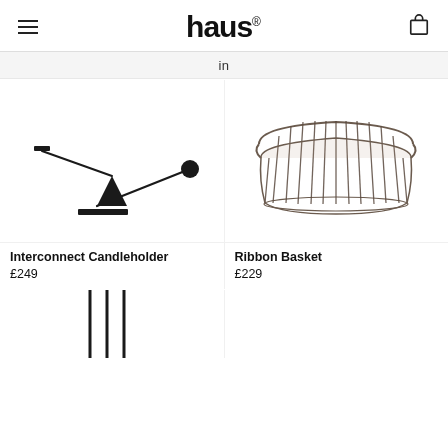haus
in
[Figure (photo): Interconnect Candleholder – a black minimalist seesaw-style candleholder with a triangular base, horizontal arm, small candle cup at one end, and a sphere at the other end.]
Interconnect Candleholder
£249
[Figure (photo): Ribbon Basket – a smoked/dark transparent cylindrical basket made of vertical wire ribbons, wider at the top with curved edges.]
Ribbon Basket
£229
[Figure (photo): Partial view of another product – three thin black vertical rods/legs visible from the bottom, cropped at the page edge.]